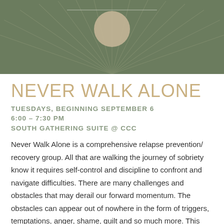[Figure (illustration): Dark sage green background with radiating sunray lines and a tan/beige circle (sun) centered near the top, with a thin horizontal white line above it.]
NEVER WALK ALONE
TUESDAYS, BEGINNING SEPTEMBER 6
6:00 – 7:30 PM
SOUTH GATHERING SUITE @ CCC
Never Walk Alone is a comprehensive relapse prevention/ recovery group. All that are walking the journey of sobriety know it requires self-control and discipline to confront and navigate difficulties. There are many challenges and obstacles that may derail our forward momentum. The obstacles can appear out of nowhere in the form of triggers, temptations, anger, shame, guilt and so much more. This